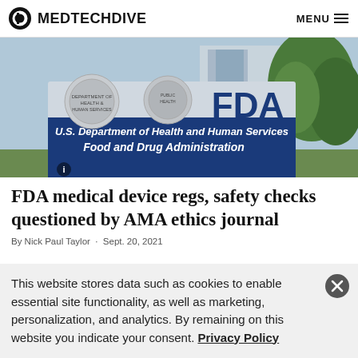MEDTECHDIVE  MENU
[Figure (photo): Exterior sign of the U.S. Food and Drug Administration building showing seals and text: FDA, U.S. Department of Health and Human Services, Food and Drug Administration]
FDA medical device regs, safety checks questioned by AMA ethics journal
By Nick Paul Taylor  ·  Sept. 20, 2021
This website stores data such as cookies to enable essential site functionality, as well as marketing, personalization, and analytics. By remaining on this website you indicate your consent. Privacy Policy